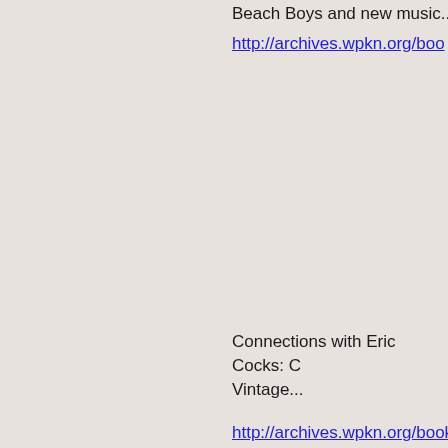Beach Boys and new music...
http://archives.wpkn.org/boo
Connections with Eric Cocks: C Vintage...
http://archives.wpkn.org/bookm
Connections at Night (includ geared for late night listenin
http://archives.wpkn.org/boo